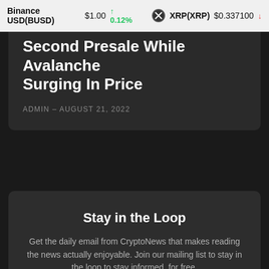Binance USD(BUSD) $1.00 ↑ 0.12%   XRP(XRP) $0.337100 ↓
Second Presale While Avalanche Surging In Price
ADMIN – AUGUST 21, 2022
Stay in the Loop
Get the daily email from CryptoNews that makes reading the news actually enjoyable. Join our mailing list to stay in the loop to stay informed, for free.
Your email address  Subscribe
I've read and accept the Privacy Policy